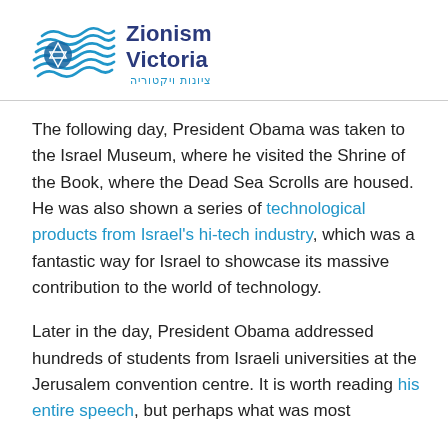[Figure (logo): Zionism Victoria logo with wave/star graphic and Hebrew text צִיּוֹנוּת וִיקְטוֹרְיָה]
The following day, President Obama was taken to the Israel Museum, where he visited the Shrine of the Book, where the Dead Sea Scrolls are housed. He was also shown a series of technological products from Israel's hi-tech industry, which was a fantastic way for Israel to showcase its massive contribution to the world of technology.
Later in the day, President Obama addressed hundreds of students from Israeli universities at the Jerusalem convention centre. It is worth reading his entire speech, but perhaps what was most